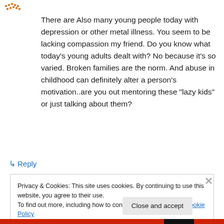[Figure (logo): Small orange pixelated avatar/icon in top left]
There are Also many young people today with depression or other metal illness. You seem to be lacking compassion my friend. Do you know what today's young adults dealt with? No because it's so varied. Broken families are the norm. And abuse in childhood can definitely alter a person's motivation..are you out mentoring these "lazy kids" or just talking about them?
↳ Reply
Privacy & Cookies: This site uses cookies. By continuing to use this website, you agree to their use.
To find out more, including how to control cookies, see here: Cookie Policy
Close and accept